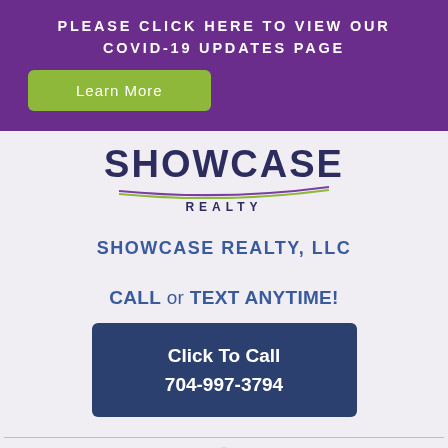PLEASE CLICK HERE TO VIEW OUR COVID-19 UPDATES PAGE
Learn More
[Figure (logo): Showcase Realty logo with stylized underline swoosh and 'REALTY' text below]
SHOWCASE REALTY, LLC
CALL or TEXT ANYTIME!
Click To Call 704-997-3794
[Figure (other): Menu hamburger icon in teal circle at bottom]